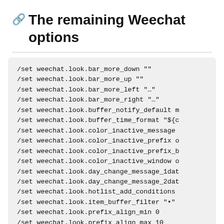The remaining Weechat options
/set weechat.look.bar_more_down ""
/set weechat.look.bar_more_up ""
/set weechat.look.bar_more_left "…"
/set weechat.look.bar_more_right "…"
/set weechat.look.buffer_notify_default m
/set weechat.look.buffer_time_format "${c
/set weechat.look.color_inactive_message
/set weechat.look.color_inactive_prefix o
/set weechat.look.color_inactive_prefix_b
/set weechat.look.color_inactive_window o
/set weechat.look.day_change_message_1dat
/set weechat.look.day_change_message_2dat
/set weechat.look.hotlist_add_conditions
/set weechat.look.item_buffer_filter "•"
/set weechat.look.prefix_align_min 0
/set weechat.look.prefix_align_max 10
/set weechat.look.prefix_join "➡"
/set weechat.look.prefix_quit "1…"